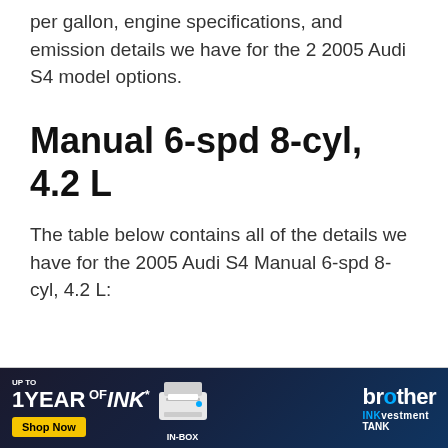per gallon, engine specifications, and emission details we have for the 2 2005 Audi S4 model options.
Manual 6-spd 8-cyl, 4.2 L
The table below contains all of the details we have for the 2005 Audi S4 Manual 6-spd 8-cyl, 4.2 L:
[Figure (other): Brother INKvestment Tank printer advertisement banner. Text reads: UP TO 1 YEAR OF INK* IN-BOX, Shop Now button, Brother INKvestment Tank logo with printer image.]